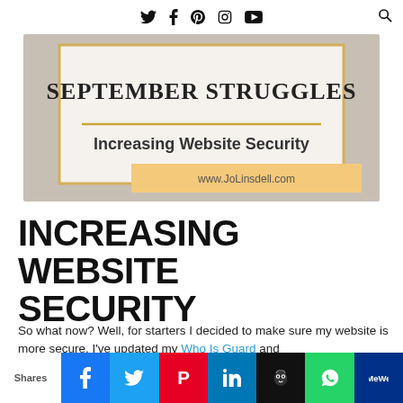Social media icons: Twitter, Facebook, Pinterest, Instagram, YouTube, Search
[Figure (illustration): Blog post hero image showing a decorative sign reading 'SEPTEMBER STRUGGLES – Increasing Website Security – www.JoLinsdell.com']
INCREASING WEBSITE SECURITY
So what now? Well, for starters I decided to make sure my website is more secure. I've updated my Who Is Guard and
Shares | Facebook | Twitter | Pinterest | LinkedIn | Hootsuite | WhatsApp | MeWe